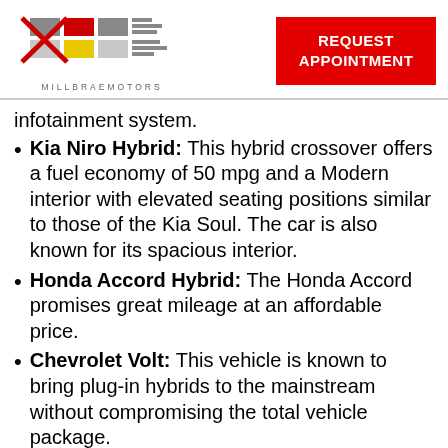[Figure (logo): Millbrae Motors logo with stylized graphic and text MILLBRAEMOTORS]
REQUEST APPOINTMENT
infotainment system.
Kia Niro Hybrid: This hybrid crossover offers a fuel economy of 50 mpg and a Modern interior with elevated seating positions similar to those of the Kia Soul. The car is also known for its spacious interior.
Honda Accord Hybrid: The Honda Accord promises great mileage at an affordable price.
Chevrolet Volt: This vehicle is known to bring plug-in hybrids to the mainstream without compromising the total vehicle package.
Whatever hybrid you drive, you can bring it to